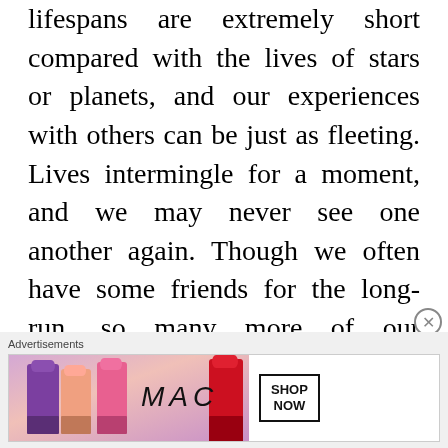lifespans are extremely short compared with the lives of stars or planets, and our experiences with others can be just as fleeting. Lives intermingle for a moment, and we may never see one another again. Though we often have some friends for the long-run, so many more of our everyday experiences involve anonymous people we do not even fully notice or acknowledge. If the dog was the embodiment of the dog-star Sirius, then perhaps this cosmic messenger brought the following message. Always be aware of how fleeting your
[Figure (other): MAC Cosmetics advertisement showing lipsticks and MAC logo with SHOP NOW button]